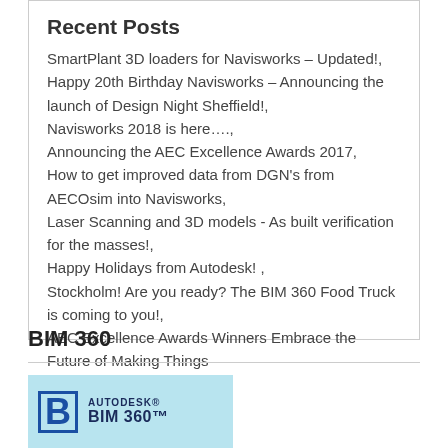Recent Posts
SmartPlant 3D loaders for Navisworks – Updated!, Happy 20th Birthday Navisworks – Announcing the launch of Design Night Sheffield!, Navisworks 2018 is here…., Announcing the AEC Excellence Awards 2017, How to get improved data from DGN's from AECOsim into Navisworks, Laser Scanning and 3D models - As built verification for the masses!, Happy Holidays from Autodesk! , Stockholm! Are you ready? The BIM 360 Food Truck is coming to you!, AEC Excellence Awards Winners Embrace the Future of Making Things
BIM 360
[Figure (logo): Autodesk BIM 360 logo on a light blue background with stylized B icon]